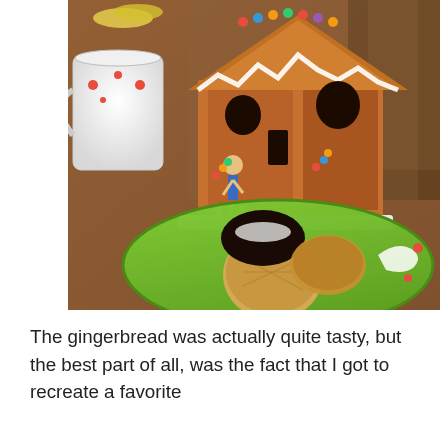[Figure (photo): A photograph of a green holiday plate with cookies (a round peanut butter cookie, a chocolate-frosted cookie, and another cookie) in the foreground, with a white mug with red polka dots and a decorated gingerbread house on a wooden table in the background.]
The gingerbread was actually quite tasty, but the best part of all, was the fact that I got to recreate a favorite